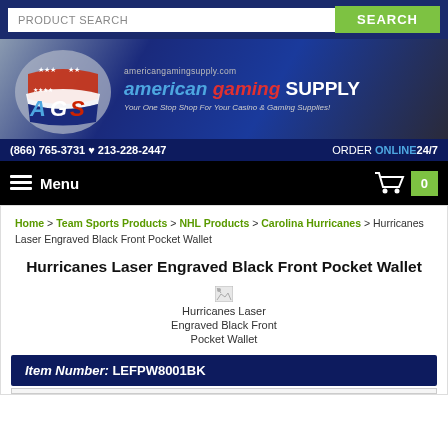PRODUCT SEARCH | SEARCH
[Figure (logo): American Gaming Supply logo banner with AGS shield logo, URL americangamingsupply.com, tagline 'Your One Stop Shop For Your Casino & Gaming Supplies!']
(866) 765-3731 ♥ 213-228-2447  |  ORDER ONLINE24/7
Menu  |  0
Home > Team Sports Products > NHL Products > Carolina Hurricanes > Hurricanes Laser Engraved Black Front Pocket Wallet
Hurricanes Laser Engraved Black Front Pocket Wallet
[Figure (photo): Broken image placeholder for Hurricanes Laser Engraved Black Front Pocket Wallet]
Item Number: LEFPW8001BK